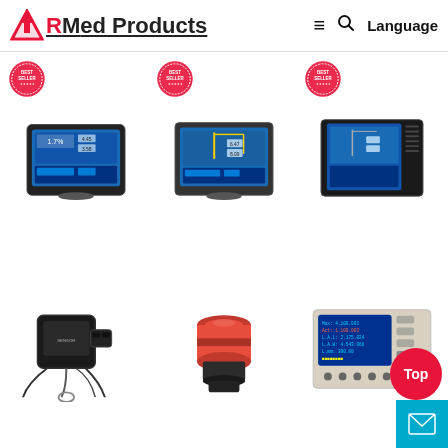RMed Products — Language
[Figure (photo): Grid of six industrial crane safety monitoring devices and sensors. Top row: three touchscreen crane load moment indicator displays with BESTSELLER stamps. Bottom row: a black angle sensor/encoder device, a red cylindrical sensor, and a blue LCD control panel unit.]
[Figure (logo): Top right corner button with red circle and 'Top' text, and a teal mail/envelope button below it.]